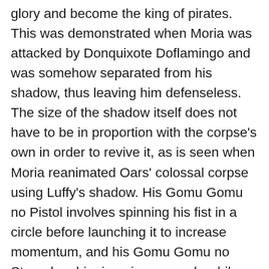glory and become the king of pirates. This was demonstrated when Moria was attacked by Donquixote Doflamingo and was somehow separated from his shadow, thus leaving him defenseless. The size of the shadow itself does not have to be in proportion with the corpse's own in order to revive it, as is seen when Moria reanimated Oars' colossal corpse using Luffy's shadow. His Gomu Gomu no Pistol involves spinning his fist in a circle before launching it to increase momentum, and his Gomu Gomu no Storm has him jumping upwards while inhaling and twisting before launching the barrage downwards. [18] It is worth noting that while being exposed to daylight after having one's shadows extracted usually means instant death, victims who had their shadows extracted for some time can actually last a little more under the sun than those who have had their shadows taken very recently; during the final battle against Moria, the shadowless Straw Hat members instantly had their upper bodies obliterated, while the Rolling Pirates actually lasted...